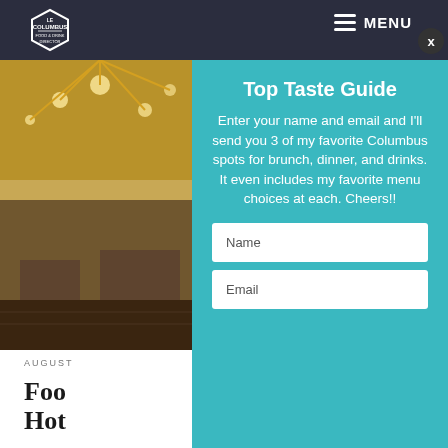MENU
[Figure (logo): Columbus food blog hexagonal logo badge]
[Figure (photo): Interior restaurant photo showing chandeliers and dining area]
AUGUST
Top Taste Guide
Enter your name and email and I'll send you 3 of my favorite Columbus spots for brunch, dinner, and drinks. It even includes my favorite menu choices at each. Cheers!!
Name
Email